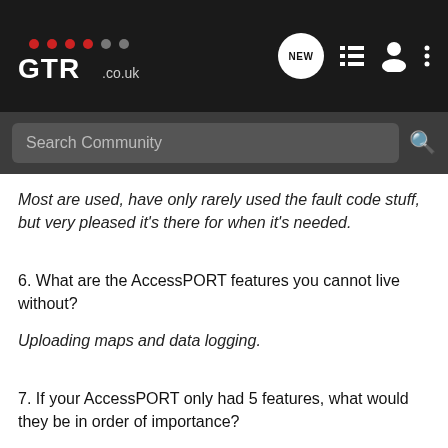GTR.co.uk — NEW — navigation icons
Most are used, have only rarely used the fault code stuff, but very pleased it's there for when it's needed.
6. What are the AccessPORT features you cannot live without?
Uploading maps and data logging.
7. If your AccessPORT only had 5 features, what would they be in order of importance?
1. uploading maps...